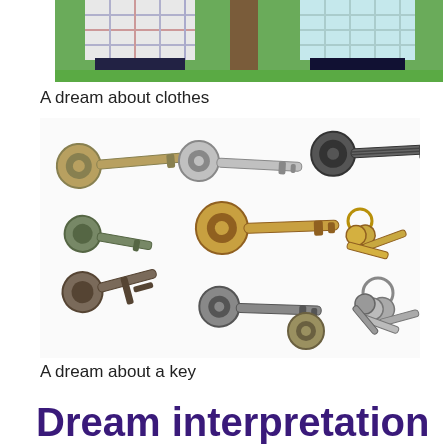[Figure (photo): Top portion of two people standing outdoors wearing plaid/checkered shirts and dark pants, with a tree visible in the background on green grass.]
A dream about clothes
[Figure (photo): Collection of various keys arranged on a white background — including gold, silver, and dark keys of various shapes and sizes, some on keyrings.]
A dream about a key
Dream interpretation